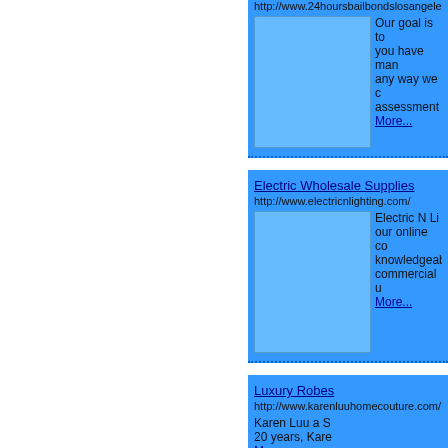http://www.24hoursbailbondslosangeles.c...
[Figure (illustration): Blue placeholder image for bail bonds listing]
Our goal is to you have man any way we c assessment More...
Electric Wholesale Supplies
http://www.electricnlighting.com/
[Figure (illustration): Blue placeholder image for electric wholesale supplies listing]
Electric N Li our online co knowledgeab commercial u More...
Luxury Robes
http://www.karenluuhomecouture.com/
[Figure (illustration): Blue placeholder image for luxury robes listing]
Karen Luu a S 20 years, Kare More...